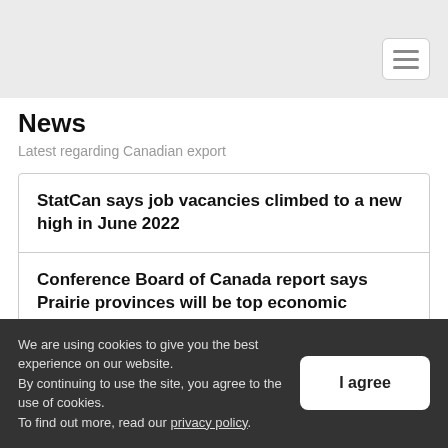News
Latest regarding Canadian export
StatCan says job vacancies climbed to a new high in June 2022
Conference Board of Canada report says Prairie provinces will be top economic performers this year
We are using cookies to give you the best experience on our website. By continuing to use the site, you agree to the use of cookies. To find out more, read our privacy policy.